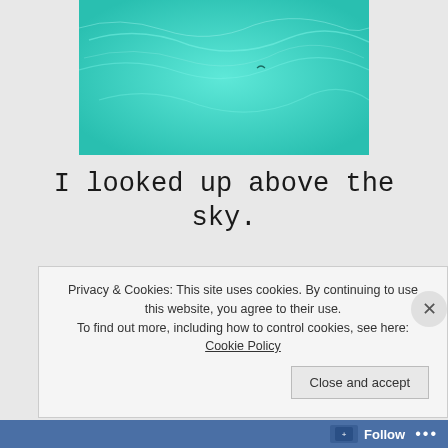[Figure (photo): Aerial/underwater view of turquoise sea water with light reflections]
I looked up above the sky.
and underneath the sea...
only to find my one true star
Privacy & Cookies: This site uses cookies. By continuing to use this website, you agree to their use.
To find out more, including how to control cookies, see here: Cookie Policy
Close and accept
Follow